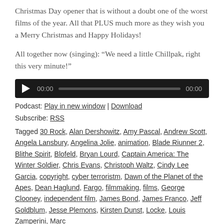Christmas Day opener that is without a doubt one of the worst films of the year. All that PLUS much more as they wish you a Merry Christmas and Happy Holidays!
All together now (singing): “We need a little Chillpak, right this very minute!”
[Figure (other): Audio player widget with play button, time display 00:00, progress bar, and end time 00:00 on dark background]
Podcast: Play in new window | Download
Subscribe: RSS
Tagged 30 Rock, Alan Dershowitz, Amy Pascal, Andrew Scott, Angela Lansbury, Angelina Jolie, animation, Blade Riunner 2, Blithe Spirit, Blofeld, Bryan Lourd, Captain America: The Winter Soldier, Chris Evans, Christoph Waltz, Cindy Lee Garcia, copyright, cyber terroristm, Dawn of the Planet of the Apes, Dean Haglund, Fargo, filmmaking, films, George Clooney, independent film, James Bond, James Franco, Jeff Goldblum, Jesse Plemons, Kirsten Dunst, Locke, Louis Zamperini, Marc